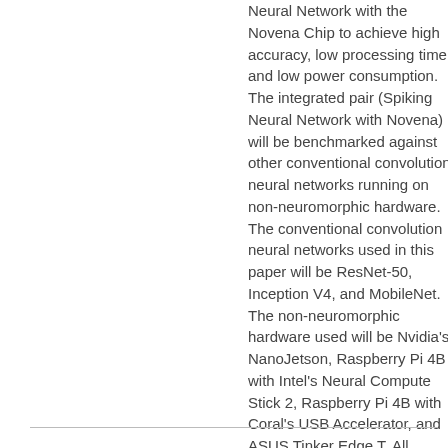Neural Network with the Novena Chip to achieve high accuracy, low processing time, and low power consumption. The integrated pair (Spiking Neural Network with Novena) will be benchmarked against other conventional convolution neural networks running on non-neuromorphic hardware. The conventional convolution neural networks used in this paper will be ResNet-50, Inception V4, and MobileNet. The non-neuromorphic hardware used will be Nvidia's NanoJetson, Raspberry Pi 4B with Intel's Neural Compute Stick 2, Raspberry Pi 4B with Coral's USB Accelerator, and ASUS Tinker Edge T. All experiments will be making use of the same dataset for both visual and audio component.